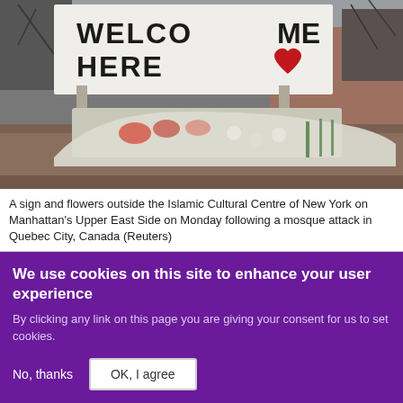[Figure (photo): A photo showing a sign reading 'WELCOME HERE' with a red heart, and flowers wrapped in white paper laid outside on a granite ledge. Bare trees visible in background.]
A sign and flowers outside the Islamic Cultural Centre of New York on Manhattan's Upper East Side on Monday following a mosque attack in Quebec City, Canada (Reuters)
By Zainab Sultan
We use cookies on this site to enhance your user experience
By clicking any link on this page you are giving your consent for us to set cookies.